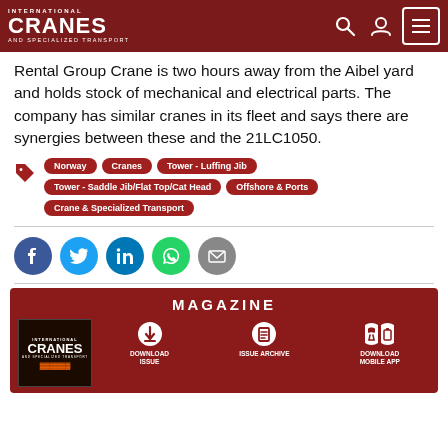International Cranes and Specialized Transport
Rental Group Crane is two hours away from the Aibel yard and holds stock of mechanical and electrical parts. The company has similar cranes in its fleet and says there are synergies between these and the 21LC1050.
Tags: Norway, Cranes, Tower - Luffing Jib, Tower - Saddle Jib/Flat Top/Cat Head, Offshore & Ports, Crane & Specialized Transport
[Figure (infographic): Social media share buttons: Facebook, Twitter, LinkedIn, WhatsApp, Email]
MAGAZINE
[Figure (infographic): Magazine section with cover image, Download Issue, Issue Archive, and Download Mobile App options]